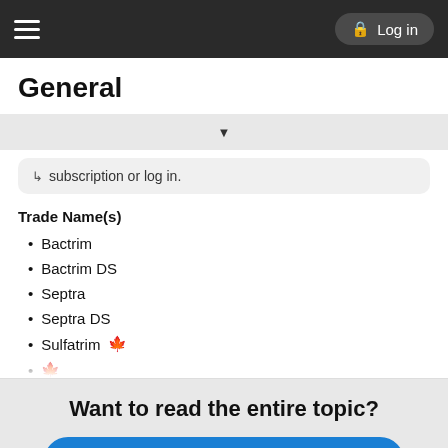General | Log in
General
subscription or log in.
Trade Name(s)
Bactrim
Bactrim DS
Septra
Septra DS
Sulfatrim 🍁
Want to read the entire topic?
Purchase a subscription
I'm already a subscriber
Browse sample topics